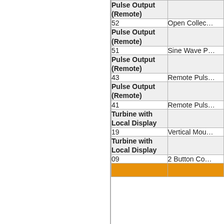| Category | Number | Description |
| --- | --- | --- |
| Pulse Output (Remote) |  |  |
|  | 52 | Open Collec... |
| Pulse Output (Remote) |  |  |
|  | 51 | Sine Wave P... |
| Pulse Output (Remote) |  |  |
|  | 43 | Remote Puls... |
| Pulse Output (Remote) |  |  |
|  | 41 | Remote Puls... |
| Turbine with Local Display |  |  |
|  | 19 | Vertical Mou... |
| Turbine with Local Display |  |  |
|  | 09 | 2 Button Co... |
| (orange row) |  |  |